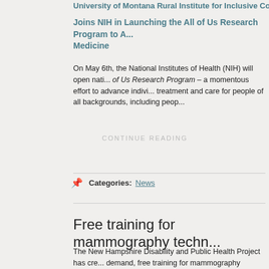University of Montana Rural Institute for Inclusive Commu...
Joins NIH in Launching the All of Us Research Program to A... Medicine
On May 6th, the National Institutes of Health (NIH) will open nati... of Us Research Program – a momentous effort to advance indivi... treatment and care for people of all backgrounds, including peop...
CONTINUE READING
Categories:  News
Free training for mammography techn...
The New Hampshire Disability and Public Health Project has cre... demand, free training for mammography technologists. The trai... Category A credit from the American Registry of Radiologic Tech...